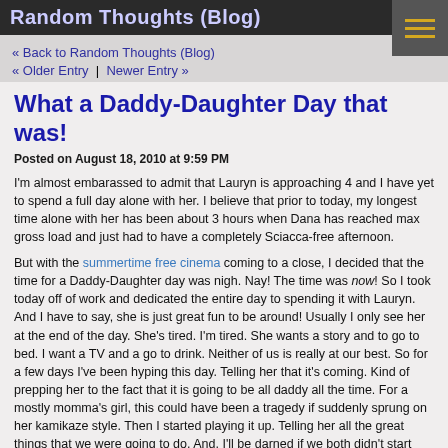Random Thoughts (Blog)
« Back to Random Thoughts (Blog)
« Older Entry  |  Newer Entry »
What a Daddy-Daughter Day that was!
Posted on August 18, 2010 at 9:59 PM
I'm almost embarassed to admit that Lauryn is approaching 4 and I have yet to spend a full day alone with her. I believe that prior to today, my longest time alone with her has been about 3 hours when Dana has reached max gross load and just had to have a completely Sciacca-free afternoon.
But with the summertime free cinema coming to a close, I decided that the time for a Daddy-Daughter day was nigh. Nay! The time was now! So I took today off of work and dedicated the entire day to spending it with Lauryn. And I have to say, she is just great fun to be around! Usually I only see her at the end of the day. She's tired. I'm tired. She wants a story and to go to bed. I want a TV and a go to drink. Neither of us is really at our best. So for a few days I've been hyping this day. Telling her that it's coming. Kind of prepping her to the fact that it is going to be all daddy all the time. For a mostly momma's girl, this could have been a tragedy if suddenly sprung on her kamikaze style. Then I started playing it up. Telling her all the great things that we were going to do. And, I'll be darned if we both didn't start getting totally psyched for it! To her her say, "Daddy, we're